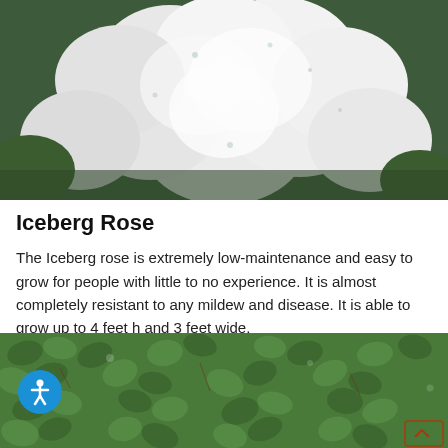[Figure (photo): Close-up photo of white Iceberg rose petals with water droplets]
Iceberg Rose
The Iceberg rose is extremely low-maintenance and easy to grow for people with little to no experience. It is almost completely resistant to any mildew and disease. It is able to grow up to 4 feet h and 3 feet wide.
[Figure (photo): Dense green leafy hedge or vine wall covering]